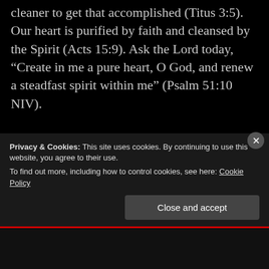cleaner to get that accomplished (Titus 3:5). Our heart is purified by faith and cleansed by the Spirit (Acts 15:9). Ask the Lord today, “Create in me a pure heart, O God, and renew a steadfast spirit within me” (Psalm 51:10 NIV).
Advertisements
Privacy & Cookies: This site uses cookies. By continuing to use this website, you agree to their use.
To find out more, including how to control cookies, see here: Cookie Policy